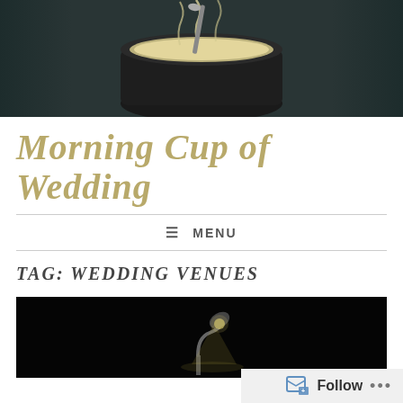[Figure (photo): Close-up photo of a steaming coffee cup with a spoon, dark background with warm tones]
Morning Cup of Wedding
≡ MENU
TAG: WEDDING VENUES
[Figure (photo): Dark photo with a single gooseneck lamp illuminated against a black background, with a watermark in the bottom right corner]
Follow ...